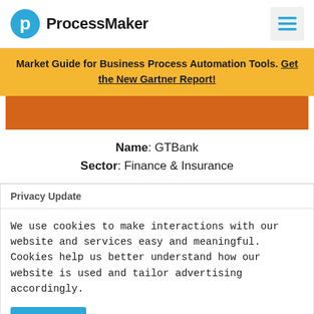[Figure (logo): ProcessMaker logo with circular P icon and brand name text]
Market Guide for Business Process Automation Tools. Get the New Gartner Report!
[Figure (other): Orange/brown horizontal bar (hero image area)]
Name: GTBank
Sector: Finance & Insurance
Privacy Update
We use cookies to make interactions with our website and services easy and meaningful. Cookies help us better understand how our website is used and tailor advertising accordingly.
Accept